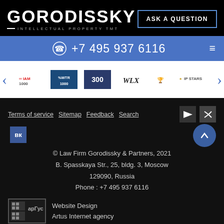[Figure (logo): Gorodissky Intellectual Property TMT logo in white on black background]
ASK A QUESTION
+7 495 937 6116
[Figure (logo): Row of partner/ranking logos: IAM 1000, WTR 1000, 300, WLC, and others]
Terms of service   Sitemap   Feedback   Search
© Law Firm Gorodissky & Partners, 2021
B. Spasskaya Str., 25, bldg. 3, Moscow
129090, Russia
Phone : +7 495 937 6116
Website Design
Artus Internet agency